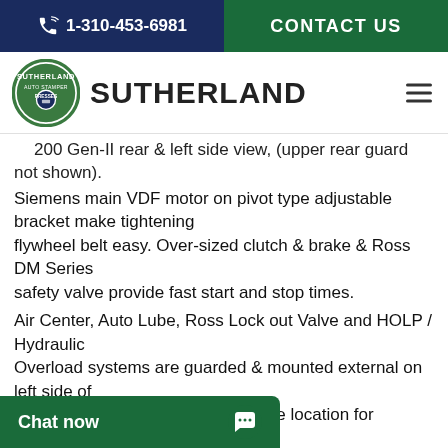1-310-453-6981    CONTACT US
[Figure (logo): Sutherland Auto Stamper Presses circular logo with text SUTHERLAND]
200 Gen-II rear & left side view, (upper rear guard not shown).
Siemens main VDF motor on pivot type adjustable bracket make tightening flywheel belt easy. Over-sized clutch & brake & Ross DM Series safety valve provide fast start and stop times.
Air Center, Auto Lube, Ross Lock out Valve and HOLP / Hydraulic Overload systems are guarded & mounted external on left side of frame. This allows maintenance one location for inspection without having production. MARK GEN-II models are available f
Chat now